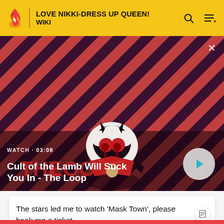LOVE NIKKI-DRESS UP QUEEN! WIKI
[Figure (screenshot): Video thumbnail for 'Cult of the Lamb Will Suck You In - The Loop' showing a cartoon lamb character with red eyes on a striped red and dark background. Shows WATCH · 03:08 label and a play button.]
The stars led me to watch 'Mask Town', please book me a ticket.
2020-11-26